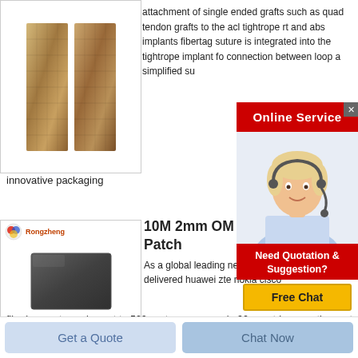[Figure (photo): Two rectangular stone or cork blocks side by side]
attachment of single ended grafts such as quad tendon grafts to the acl tightrope rt and abs implants fibertag suture is integrated into the tightrope implant fo connection between loop a simplified su
[Figure (infographic): Online Service popup with customer service agent and Free Chat button]
innovative packaging
[Figure (photo): Product image: dark grey rectangular block with Rongzheng logo]
10M 2mm OM To FC/UPC M Patch
As a global leading network hardware a have delivered huawei zte nokia cisco fiberhome etc equipment to 500 customer groups in 90 countries over the past 9 years know more strict 3 level quality control procedure 1st level inspection 2nd level in stock test 3rd level 24 hour pre delivery
Get a Quote
Chat Now